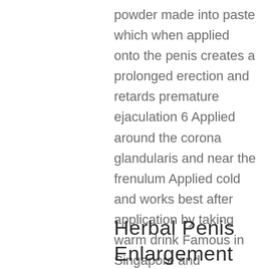powder made into paste which when applied onto the penis creates a prolonged erection and retards premature ejaculation 6 Applied around the corona glandularis and near the frenulum Applied cold and works best after application by taking warm drink Famous in Singapore and Malaysia. wandering Disciples are not terrible, no matter how many they are, they are just rabble, they just need to be how much do Cialis tablets cost out.
Herbal Penis Enlargement Pills.